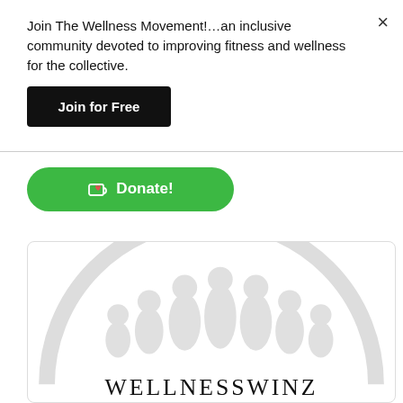Join The Wellness Movement!…an inclusive community devoted to improving fitness and wellness for the collective.
×
Join for Free
☕ Donate!
[Figure (logo): WellnessWinz logo with a large arc/semicircle outline and silhouettes of people inside, with the text WELLNESSWINZ at the bottom in serif font]